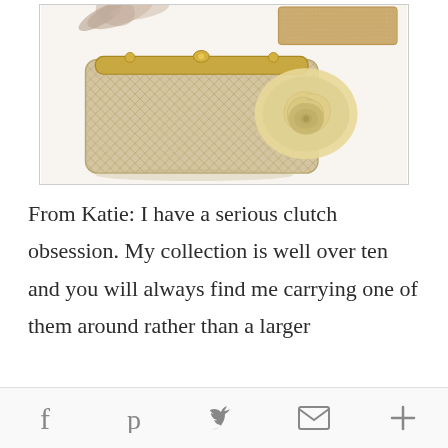[Figure (photo): Photo showing decorative clutch purses and accessories on white background — a cream/gold quilted clutch with large fabric rose decoration, a feathered hair accessory, and a glittery rectangular clutch in the upper right corner]
From Katie: I have a serious clutch obsession. My collection is well over ten and you will always find me carrying one of them around rather than a larger
Social share icons: Facebook, Pinterest, Twitter, Email, More